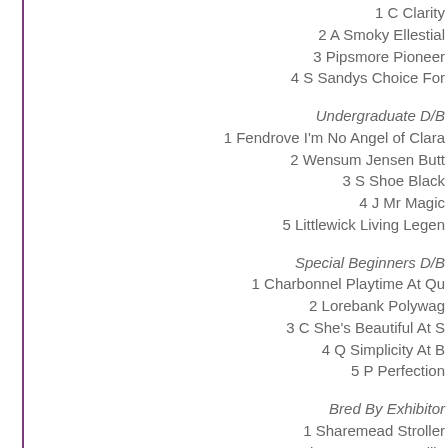1 C Clarity
2 A Smoky Ellestial
3 Pipsmore Pioneer
4 S Sandys Choice For
Undergraduate D/B
1 Fendrove I'm No Angel of Clara
2 Wensum Jensen Butt
3 S Shoe Black
4 J Mr Magic
5 Littlewick Living Legen
Special Beginners D/B
1 Charbonnel Playtime At Qu
2 Lorebank Polywag
3 C She's Beautiful At S
4 Q Simplicity At B
5 P Perfection
Bred By Exhibitor
1 Sharemead Stroller
2 Pipsmore Pussy Willo
3 P Perfection
4 A Starsapphire
Not Bred By Exhibitor
1 Q Simplicity At B
2 Rosica Special Creatio
Postgraduate D/B
1 Perrytree Golden Plu
2 ...